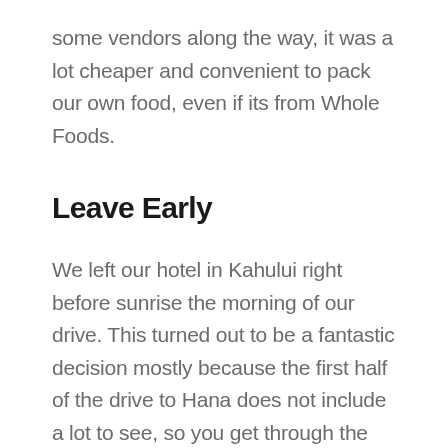some vendors along the way, it was a lot cheaper and convenient to pack our own food, even if its from Whole Foods.
Leave Early
We left our hotel in Kahului right before sunrise the morning of our drive. This turned out to be a fantastic decision mostly because the first half of the drive to Hana does not include a lot to see, so you get through the first part quickly before any crowds appear. The one downside is that some establishments such as the Garden of Eden and food vendors may not open that early. We did not find this